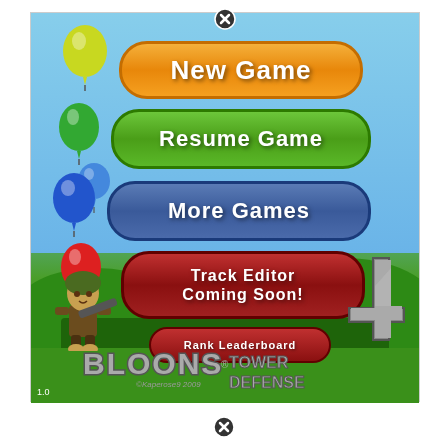[Figure (screenshot): Screenshot of Bloons Tower Defense 4 game main menu showing New Game, Resume Game, More Games, Track Editor Coming Soon!, and Rank Leaderboard buttons with colorful balloons and game logo on a green/blue background.]
1.0
©Kaperose9 2009